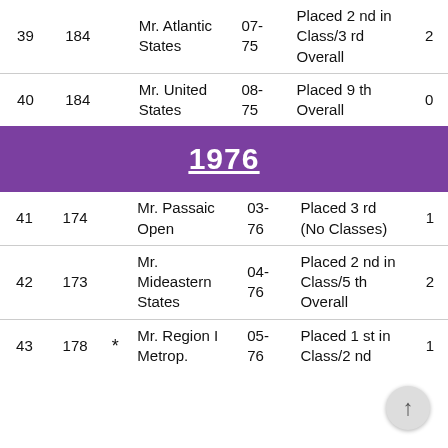| # | Wt |  | Contest | Date | Result | Pts |
| --- | --- | --- | --- | --- | --- | --- |
| 39 | 184 |  | Mr. Atlantic States | 07-75 | Placed 2 nd in Class/3 rd Overall | 2 |
| 40 | 184 |  | Mr. United States | 08-75 | Placed 9 th Overall | 0 |
1976
| # | Wt |  | Contest | Date | Result | Pts |
| --- | --- | --- | --- | --- | --- | --- |
| 41 | 174 |  | Mr. Passaic Open | 03-76 | Placed 3 rd (No Classes) | 1 |
| 42 | 173 |  | Mr. Mideastern States | 04-76 | Placed 2 nd in Class/5 th Overall | 2 |
| 43 | 178 | * | Mr. Region I Metrop. | 05-76 | Placed 1 st in Class/2 nd | 1 |